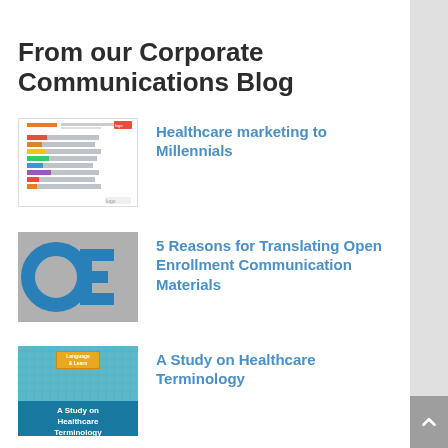From our Corporate Communications Blog
[Figure (infographic): Thumbnail of a horizontal bar chart infographic about healthcare and Millennials]
Healthcare marketing to Millennials
[Figure (logo): Gray square thumbnail with large blue OE letters logo]
5 Reasons for Translating Open Enrollment Communication Materials
[Figure (photo): Teal/cyan book cover thumbnail with Language & Learn logo and title 'A Study on Healthcare Terminology']
A Study on Healthcare Terminology